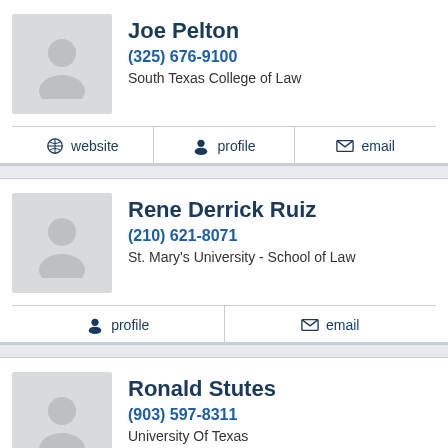[Figure (photo): Placeholder avatar silhouette for Joe Pelton]
Joe Pelton
(325) 676-9100
South Texas College of Law
website  profile  email
[Figure (photo): Placeholder avatar silhouette for Rene Derrick Ruiz]
Rene Derrick Ruiz
(210) 621-8071
St. Mary's University - School of Law
profile  email
[Figure (photo): Placeholder avatar silhouette for Ronald Stutes]
Ronald Stutes
(903) 597-8311
University Of Texas
profile  email